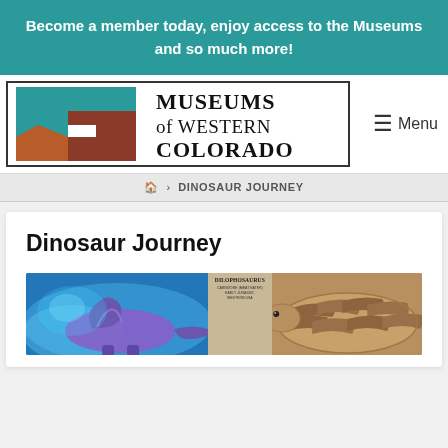Become a member today, enjoy access to the Museums and so much more!
[Figure (logo): Museums of Western Colorado logo with teal and brown geometric shapes]
Menu
🏠 › DINOSAUR JOURNEY
Dinosaur Journey
[Figure (photo): Three panel image: blue-lit dinosaur exhibit on left, Dilophosaurus information card in center, striped snake or dinosaur on right]